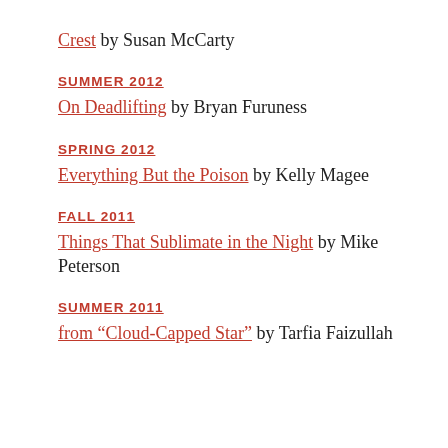Crest by Susan McCarty
SUMMER 2012
On Deadlifting by Bryan Furuness
SPRING 2012
Everything But the Poison by Kelly Magee
FALL 2011
Things That Sublimate in the Night by Mike Peterson
SUMMER 2011
from “Cloud-Capped Star” by Tarfia Faizullah